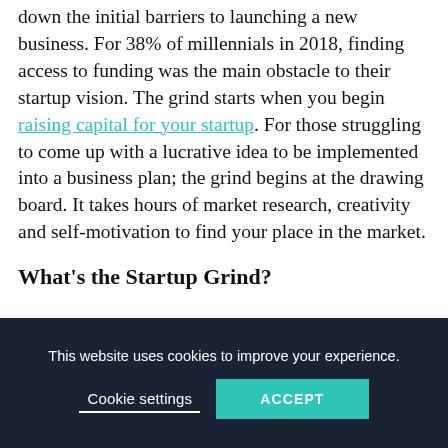down the initial barriers to launching a new business. For 38% of millennials in 2018, finding access to funding was the main obstacle to their startup vision. The grind starts when you begin raising capital for your startup. For those struggling to come up with a lucrative idea to be implemented into a business plan; the grind begins at the drawing board. It takes hours of market research, creativity and self-motivation to find your place in the market.
What's the Startup Grind?
This website uses cookies to improve your experience.